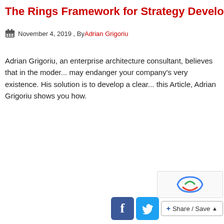The Rings Framework for Strategy Development; Porter
November 4, 2019 , By Adrian Grigoriu
Adrian Grigoriu, an enterprise architecture consultant, believes that in the modern world, ignoring enterprise architecture may endanger your company's very existence. His solution is to develop a clear strategy for your company. In this Article, Adrian Grigoriu shows you how.